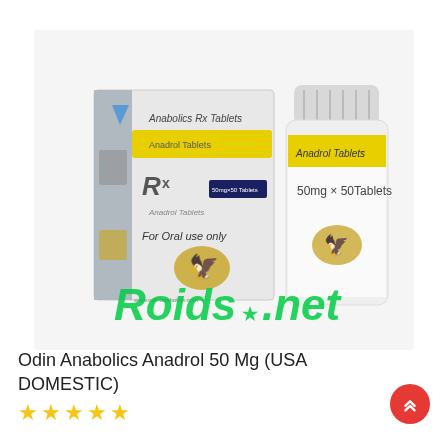[Figure (photo): Product photo of Odin Anabolics Anadrol 50mg tablets showing a blister box and white pill bottle with yellow label. A green 'Roids.net' watermark overlays the image.]
Odin Anabolics Anadrol 50 Mg (USA DOMESTIC)
★★★★★